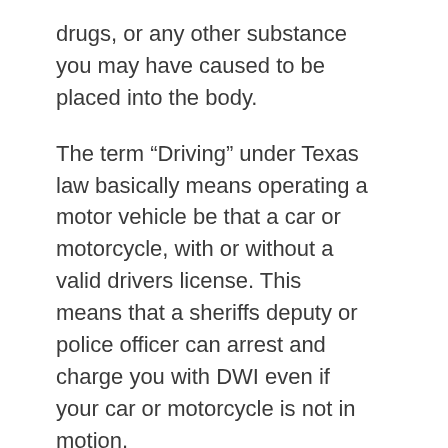drugs, or any other substance you may have caused to be placed into the body.
The term “Driving” under Texas law basically means operating a motor vehicle be that a car or motorcycle, with or without a valid drivers license. This means that a sheriffs deputy or police officer can arrest and charge you with DWI even if your car or motorcycle is not in motion.
I was sober, how could I be arrested for DWI ?
It has been known for innocent people to be